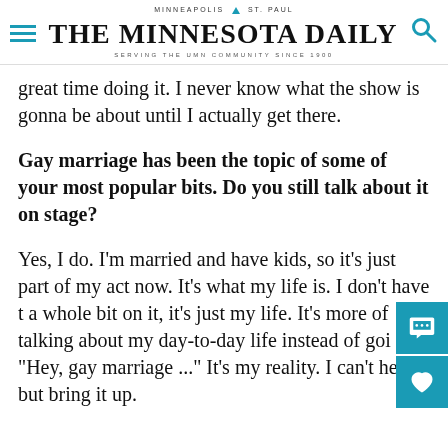MINNEAPOLIS  ST. PAUL
THE MINNESOTA DAILY
SERVING THE UMN COMMUNITY SINCE 1900
great time doing it. I never know what the show is gonna be about until I actually get there.
Gay marriage has been the topic of some of your most popular bits. Do you still talk about it on stage?
Yes, I do. I'm married and have kids, so it's just part of my act now. It's what my life is. I don't have t a whole bit on it, it's just my life. It's more of talking about my day-to-day life instead of goi "Hey, gay marriage ..." It's my reality. I can't hel but bring it up.